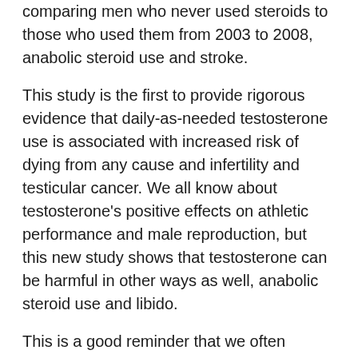comparing men who never used steroids to those who used them from 2003 to 2008, anabolic steroid use and stroke.
This study is the first to provide rigorous evidence that daily-as-needed testosterone use is associated with increased risk of dying from any cause and infertility and testicular cancer. We all know about testosterone's positive effects on athletic performance and male reproduction, but this new study shows that testosterone can be harmful in other ways as well, anabolic steroid use and libido.
This is a good reminder that we often choose our hormones based primarily on our own body experiences that do not reflect the scientific and clinical research. One is the need to increase testosterone levels to attain a healthy male growth and virilization trajectory, a desirable genetic destiny, steroid erectile dysfunction anabolic use and.